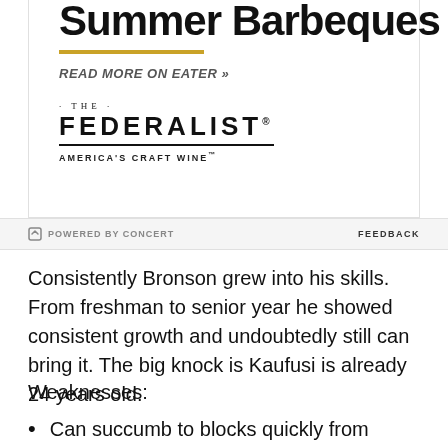[Figure (other): Advertisement box showing partial title text 'Summer Barbeques' (cropped at top), a gold horizontal rule, 'READ MORE ON EATER »' link text, and The Federalist America's Craft Wine logo.]
POWERED BY CONCERT   FEEDBACK
Consistently Bronson grew into his skills. From freshman to senior year he showed consistent growth and undoubtedly still can bring it. The big knock is Kaufusi is already 24 years old.
Weaknesses:
Can succumb to blocks quickly from angles